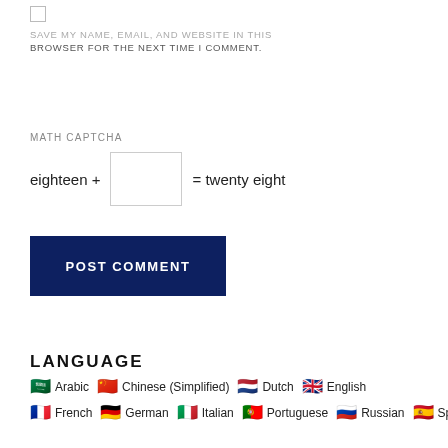SAVE MY NAME, EMAIL, AND WEBSITE IN THIS BROWSER FOR THE NEXT TIME I COMMENT.
MATH CAPTCHA
eighteen + [input box] = twenty eight
POST COMMENT
LANGUAGE
Arabic  Chinese (Simplified)  Dutch  English  French  German  Italian  Portuguese  Russian  Spanish